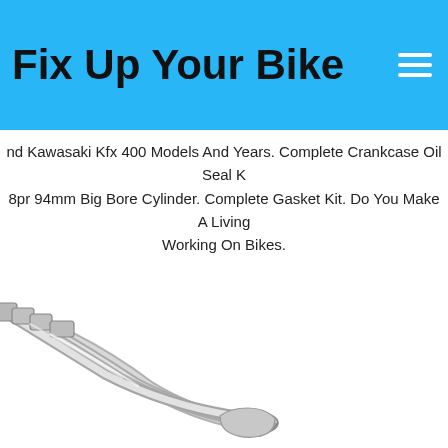Fix Up Your Bike
nd Kawasaki Kfx 400 Models And Years. Complete Crankcase Oil Seal K 8pr 94mm Big Bore Cylinder. Complete Gasket Kit. Do You Make A Living Working On Bikes.
$2299.99
[Figure (photo): Motorcycle exhaust pipe system, stainless steel, multi-tube header collector, viewed from side/bottom angle]